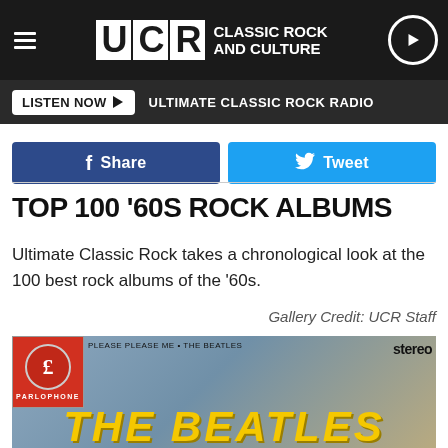UCR Classic Rock and Culture | LISTEN NOW ▶ ULTIMATE CLASSIC ROCK RADIO
[Figure (screenshot): Facebook Share button and Twitter Tweet button]
TOP 100 '60S ROCK ALBUMS
Ultimate Classic Rock takes a chronological look at the 100 best rock albums of the '60s.
Gallery Credit: UCR Staff
[Figure (photo): The Beatles 'Please Please Me' album cover showing the Parlophone label, 'PLEASE PLEASE ME • THE BEATLES' text, 'stereo' label, and THE BEATLES in yellow italic text at the bottom]